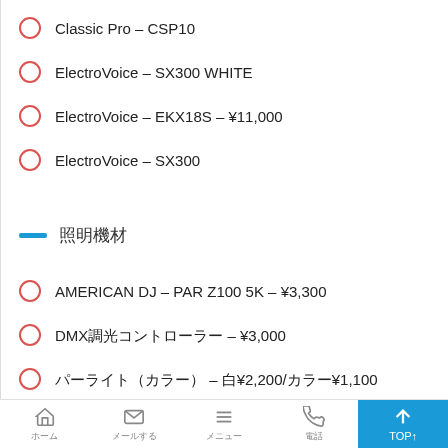Classic Pro – CSP10
ElectroVoice – SX300 WHITE
ElectroVoice – EKX18S – ¥11,000
ElectroVoice – SX300
照明機材
AMERICAN DJ – PAR Z100 5K – ¥3,300
DMX調光コントローラー – ¥3,000
パーライト（カラー） – 白¥2,200/カラー¥1,100
ムービングライト（小） – ¥6,600
ELATION – DP-415 – ¥1,100
ANTARI – Z-1000II – ¥2,200
ホーム　メールする　メニュー　電話　TOP↑